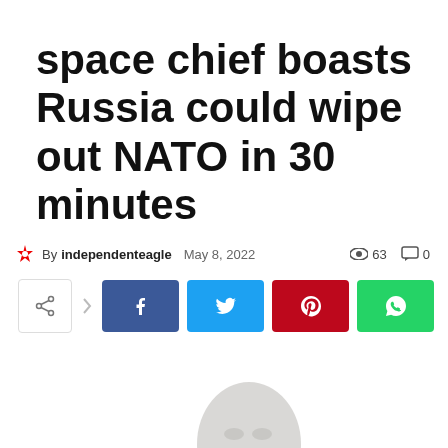space chief boasts Russia could wipe out NATO in 30 minutes
By independenteagle  May 8, 2022  👁 63  💬 0
[Figure (screenshot): Social share buttons: share icon, Facebook (blue), Twitter (light blue), Pinterest (red), WhatsApp (green)]
[Figure (photo): Faded/washed-out photo of a person's face, partially visible, silhouette style]